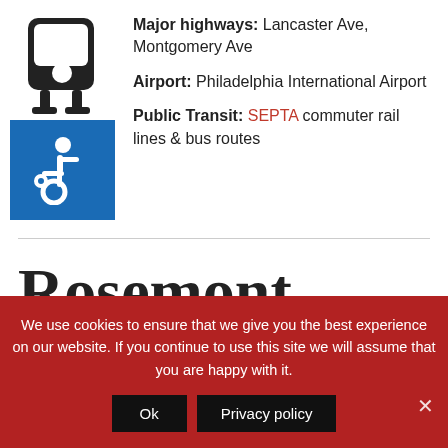[Figure (illustration): Black train/rail icon (square with rounded screen) above a blue accessibility icon (wheelchair symbol)]
Major highways: Lancaster Ave, Montgomery Ave
Airport: Philadelphia International Airport
Public Transit: SEPTA commuter rail lines & bus routes
Rosemont Homes for Sale
We use cookies to ensure that we give you the best experience on our website. If you continue to use this site we will assume that you are happy with it.
Ok | Privacy policy